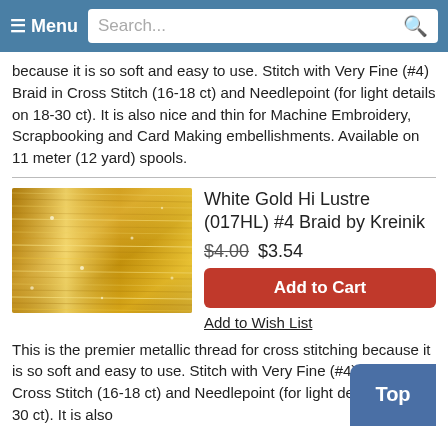≡ Menu  Search...
because it is so soft and easy to use. Stitch with Very Fine (#4) Braid in Cross Stitch (16-18 ct) and Needlepoint (for light details on 18-30 ct). It is also nice and thin for Machine Embroidery, Scrapbooking and Card Making embellishments. Available on 11 meter (12 yard) spools.
[Figure (photo): Close-up photo of White Gold Hi Lustre metallic braid thread showing golden/bronze shimmering texture]
White Gold Hi Lustre (017HL) #4 Braid by Kreinik
$4.00 $3.54
Add to Cart
Add to Wish List
This is the premier metallic thread for cross stitching because it is so soft and easy to use. Stitch with Very Fine (#4) Braid in Cross Stitch (16-18 ct) and Needlepoint (for light details on 18-30 ct). It is also